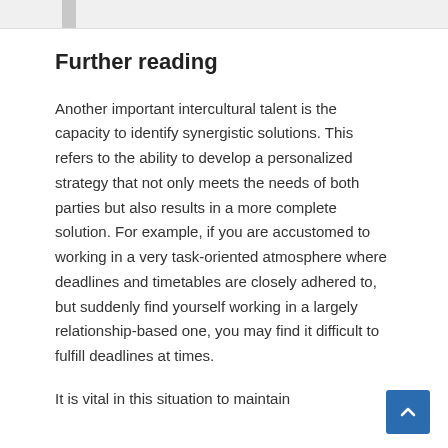Further reading
Another important intercultural talent is the capacity to identify synergistic solutions. This refers to the ability to develop a personalized strategy that not only meets the needs of both parties but also results in a more complete solution. For example, if you are accustomed to working in a very task-oriented atmosphere where deadlines and timetables are closely adhered to, but suddenly find yourself working in a largely relationship-based one, you may find it difficult to fulfill deadlines at times.
It is vital in this situation to maintain